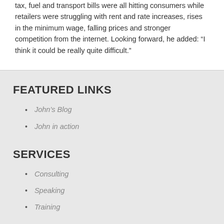tax, fuel and transport bills were all hitting consumers while retailers were struggling with rent and rate increases, rises in the minimum wage, falling prices and stronger competition from the internet. Looking forward, he added: “I think it could be really quite difficult.”
FEATURED LINKS
John’s Blog
John in action
SERVICES
Consulting
Speaking
Training